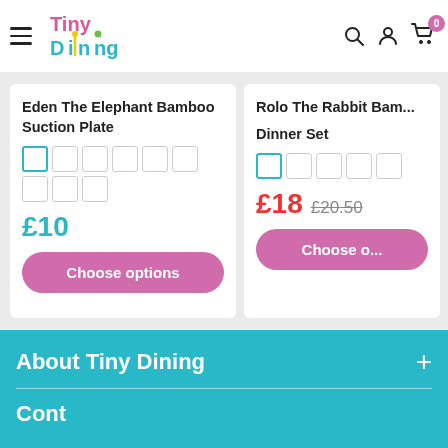Tiny Dining — navigation header with logo, search, account, and cart (0 items)
Eden The Elephant Bamboo Suction Plate
£10
Choose options
Rolo The Rabbit Bam... Dinner Set
£18  £20.50
Choose o...
About Tiny Dining
Cont...